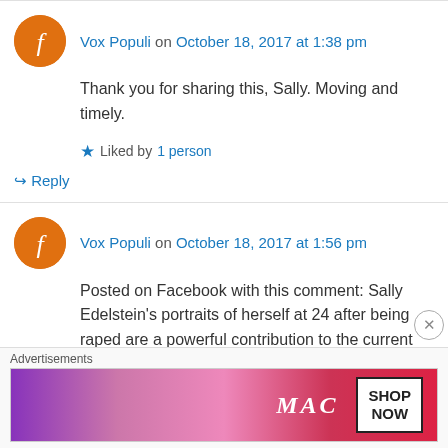Vox Populi on October 18, 2017 at 1:38 pm
Thank you for sharing this, Sally. Moving and timely.
Liked by 1 person
Reply
Vox Populi on October 18, 2017 at 1:56 pm
Posted on Facebook with this comment: Sally Edelstein's portraits of herself at 24 after being raped are a powerful contribution to the current
Advertisements